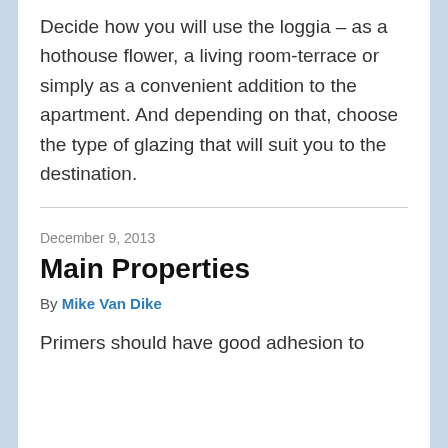Decide how you will use the loggia – as a hothouse flower, a living room-terrace or simply as a convenient addition to the apartment. And depending on that, choose the type of glazing that will suit you to the destination.
December 9, 2013
Main Properties
By Mike Van Dike
Primers should have good adhesion to